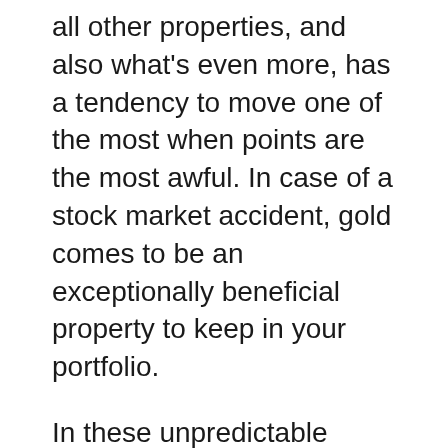all other properties, and also what's even more, has a tendency to move one of the most when points are the most awful. In case of a stock market accident, gold comes to be an exceptionally beneficial property to keep in your portfolio.
In these unpredictable times, with geopolitical tensions climbing around the world, unknowns such as movements and also water lacks due to global warming as well as environment change, supply chain uncertainties due to a global pandemic, political instability, and also fears of an overvalued stock exchange, gold is simply the best to hedge against all of these risks.
Including in today's unpredictability, there